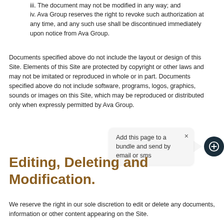iii. The document may not be modified in any way; and
iv. Ava Group reserves the right to revoke such authorization at any time, and any such use shall be discontinued immediately upon notice from Ava Group.
Documents specified above do not include the layout or design of this Site. Elements of this Site are protected by copyright or other laws and may not be imitated or reproduced in whole or in part. Documents specified above do not include software, programs, logos, graphics, sounds or images on this Site, which may be reproduced or distributed only when expressly permitted by Ava Group.
[Figure (screenshot): Tooltip popup with text 'Add this page to a bundle and send by email or sms' and a circular dark button with a circled plus icon]
Editing, Deleting and Modification.
We reserve the right in our sole discretion to edit or delete any documents, information or other content appearing on the Site.